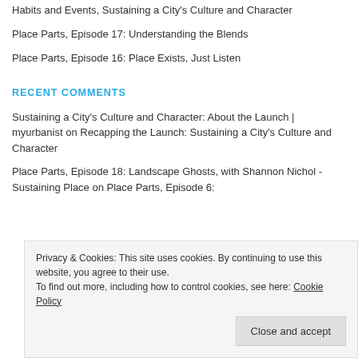Habits and Events, Sustaining a City's Culture and Character
Place Parts, Episode 17: Understanding the Blends
Place Parts, Episode 16: Place Exists, Just Listen
RECENT COMMENTS
Sustaining a City's Culture and Character: About the Launch | myurbanist on Recapping the Launch: Sustaining a City's Culture and Character
Place Parts, Episode 18: Landscape Ghosts, with Shannon Nichol - Sustaining Place on Place Parts, Episode 6:
Privacy & Cookies: This site uses cookies. By continuing to use this website, you agree to their use.
To find out more, including how to control cookies, see here: Cookie Policy
Close and accept